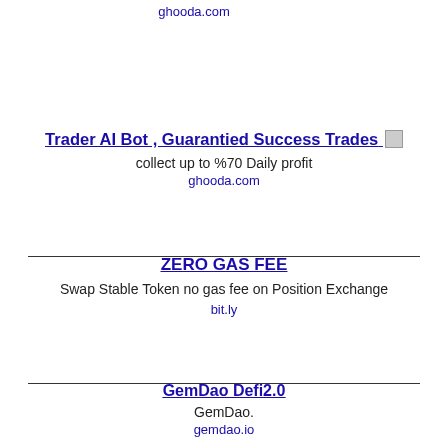ghooda.com
Trader AI Bot , Guarantied Success Trades
collect up to %70 Daily profit
ghooda.com
ZERO GAS FEE
Swap Stable Token no gas fee on Position Exchange
bit.ly
GemDao Defi2.0
GemDao.
gemdao.io
[Figure (screenshot): Position Exchange advertisement banner with purple background, green P logo, and white text reading 'Position Exchange']